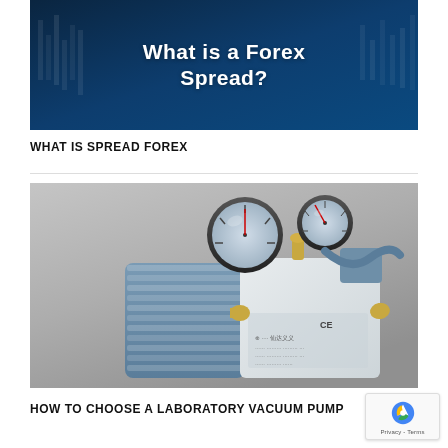[Figure (photo): Dark blue financial background with candlestick chart overlay and white bold text reading 'What is a Forex Spread?']
WHAT IS SPREAD FOREX
[Figure (photo): Close-up photograph of a laboratory vacuum pump with pressure gauges, blue ribbed housing, white body with CE marking and Chinese text specifications, and brass fittings.]
HOW TO CHOOSE A LABORATORY VACUUM PUMP